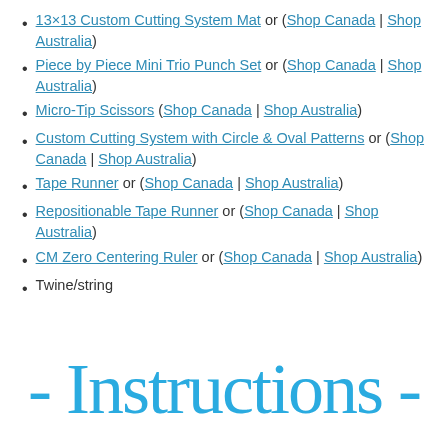13×13 Custom Cutting System Mat or (Shop Canada | Shop Australia)
Piece by Piece Mini Trio Punch Set or (Shop Canada | Shop Australia)
Micro-Tip Scissors (Shop Canada | Shop Australia)
Custom Cutting System with Circle & Oval Patterns or (Shop Canada | Shop Australia)
Tape Runner or (Shop Canada | Shop Australia)
Repositionable Tape Runner or (Shop Canada | Shop Australia)
CM Zero Centering Ruler or (Shop Canada | Shop Australia)
Twine/string
- Instructions -